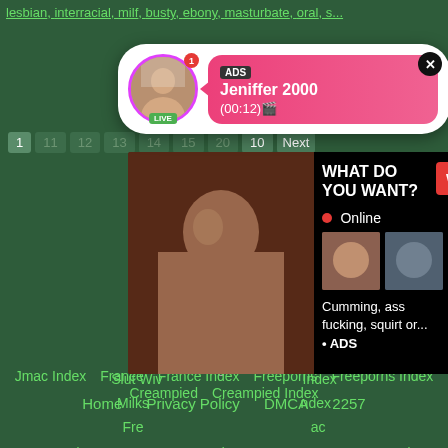lesbian, interracial, milf, busty, ebony, masturbate, oral, s...
[Figure (screenshot): Notification popup with profile avatar marked LIVE, ADS label, name Jeniffer 2000, time (00:12), pink gradient background, close button]
[Figure (screenshot): Ad overlay showing adult content image on left, right side with WHAT DO YOU WANT? WATCH button, Online indicator, three thumbnails, text Cumming, ass fucking, squirt or... ADS]
Slut Wives   Milksop   Fre...   Index   ndex   ac
Jmac Index   France   France Index   Freeporns   Freeporns Index
Creampied   Creampied Index
© 2022 All rights reserved.
Home   Privacy Policy   DMCA   2257